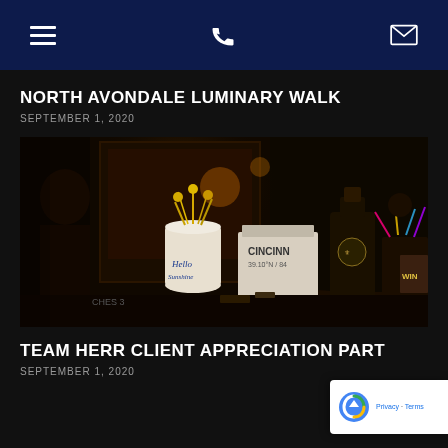Navigation bar with menu, phone, and mail icons
NORTH AVONDALE LUMINARY WALK
SEPTEMBER 1, 2020
[Figure (photo): Dark photo of gift items and merchandise on a round table, including a white ceramic mug with blue cursive text, a bag labeled 'CINCINN 39.10N/84', a dark bottle with emblem, and colorful gift wrap]
TEAM HERR CLIENT APPRECIATION PART
SEPTEMBER 1, 2020